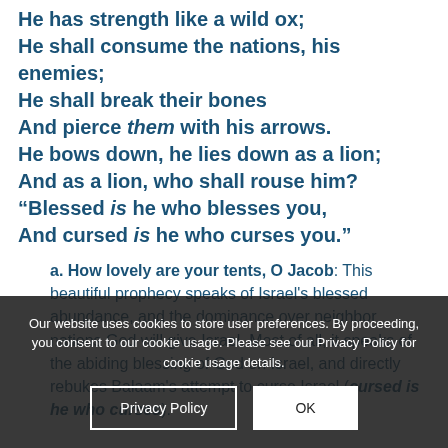He has strength like a wild ox;
He shall consume the nations, his enemies;
He shall break their bones
And pierce them with his arrows.
He bows down, he lies down as a lion;
And as a lion, who shall rouse him?
“Blessed is he who blesses you,
And cursed is he who curses you.”
a. How lovely are your tents, O Jacob: This beautiful prophecy speaks of Israel’s blessed abundance, and the dominance over neighbor nations God will give Israel. Most of all, it speaks of the abiding blessing of God on Israel, and directly rebukes Balaam’s attempt to curse Israel (cursed is he who curses).
b. Blessed is he who blesses you, and cursed
Our website uses cookies to store user preferences. By proceeding, you consent to our cookie usage. Please see our Privacy Policy for cookie usage details.